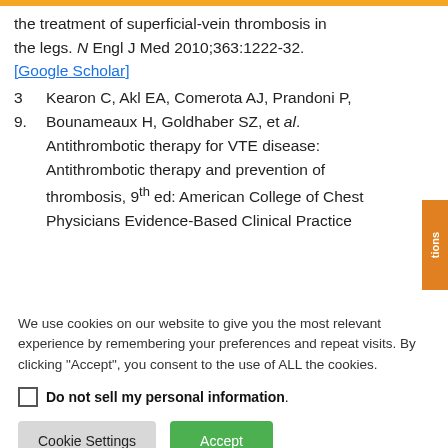the treatment of superficial-vein thrombosis in the legs. N Engl J Med 2010;363:1222-32. [Google Scholar]
3 Kearon C, Akl EA, Comerota AJ, Prandoni P, 9. Bounameaux H, Goldhaber SZ, et al. Antithrombotic therapy for VTE disease: Antithrombotic therapy and prevention of thrombosis, 9th ed: American College of Chest Physicians Evidence-Based Clinical Practice
We use cookies on our website to give you the most relevant experience by remembering your preferences and repeat visits. By clicking “Accept”, you consent to the use of ALL the cookies.
Do not sell my personal information
Cookie Settings
Accept